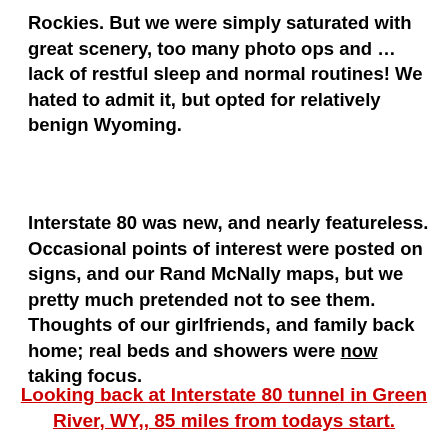Rockies. But we were simply saturated with great scenery, too many photo ops and …lack of restful sleep and normal routines! We hated to admit it, but opted for relatively benign Wyoming.
Interstate 80 was new, and nearly featureless. Occasional points of interest were posted on signs, and our Rand McNally maps, but we pretty much pretended not to see them. Thoughts of our girlfriends, and family back home; real beds and showers were now taking focus.
Looking back at Interstate 80 tunnel in Green River, WY,, 85 miles from todays start.